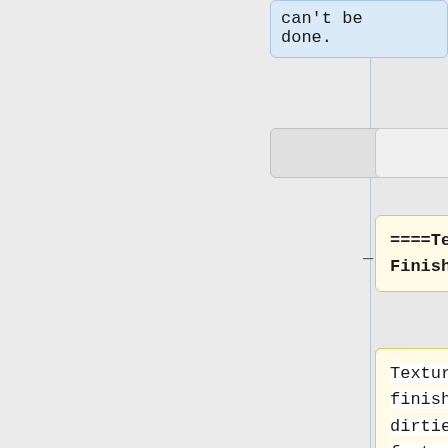can't be done.
====Textured Finishes====
Textured finishes get dirtier faster than smooth wall surfaces, so will need more maintenance. Textured finishes are also obvious imitations, and inaccurate